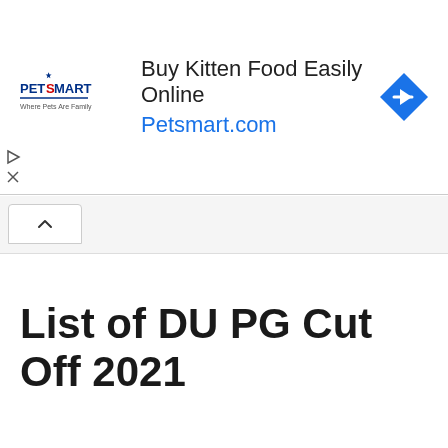[Figure (screenshot): PetSmart advertisement banner: 'Buy Kitten Food Easily Online — Petsmart.com' with PetSmart logo on the left and a blue diamond arrow icon on the right]
List of DU PG Cut Off 2021